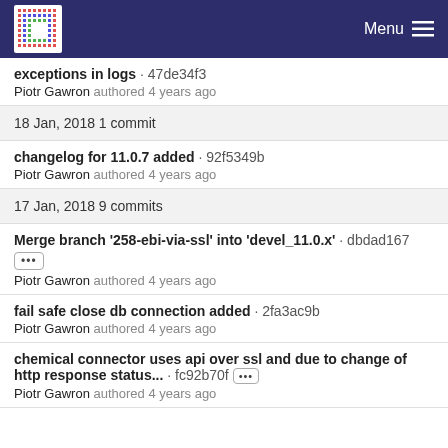Menu
exceptions in logs · 47de34f3
Piotr Gawron authored 4 years ago
18 Jan, 2018 1 commit
changelog for 11.0.7 added · 92f5349b
Piotr Gawron authored 4 years ago
17 Jan, 2018 9 commits
Merge branch '258-ebi-via-ssl' into 'devel_11.0.x' · dbdad167
Piotr Gawron authored 4 years ago
fail safe close db connection added · 2fa3ac9b
Piotr Gawron authored 4 years ago
chemical connector uses api over ssl and due to change of http response status... · fc92b70f
Piotr Gawron authored 4 years ago